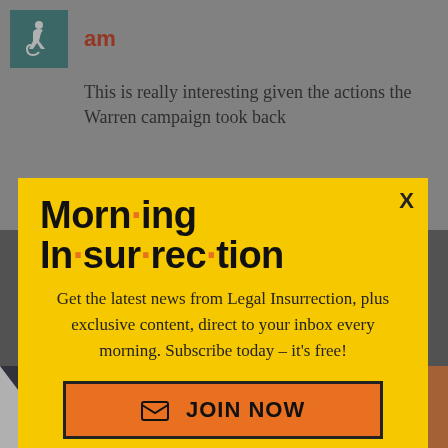[Figure (screenshot): Background page with accessibility icon (wheelchair symbol on teal background), bold red 'am' text, and article text 'This is really interesting given the actions the Warren campaign took back']
[Figure (infographic): Morning Insurrection email subscription modal popup with yellow background. Title: 'Morn·ing In·sur·rec·tion'. Body: 'Get the latest news from Legal Insurrection, plus exclusive content, direct to your inbox every morning. Subscribe today – it's free!' Orange JOIN NOW button with envelope icon.]
[Figure (screenshot): Background content partially visible: 'It is highly unusu...' and 'party not to have a primary leading...' and 'incumbent but MA Democrats conspired'. Small X close button. Perspective ad bar at bottom: 'THE PERSPECTIVE | SEE WHAT YOU'RE MISSING | READ MORE']